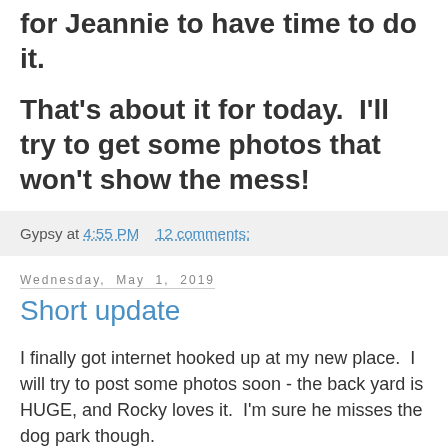for Jeannie to have time to do it.
That's about it for today.  I'll try to get some photos that won't show the mess!
Gypsy at 4:55 PM    12 comments:
Wednesday, May 1, 2019
Short update
I finally got internet hooked up at my new place.  I will try to post some photos soon - the back yard is HUGE, and Rocky loves it.  I'm sure he misses the dog park though.
I'll post as soon as I can get the time to sit down and relax.  Moving isn't as easy as it's always